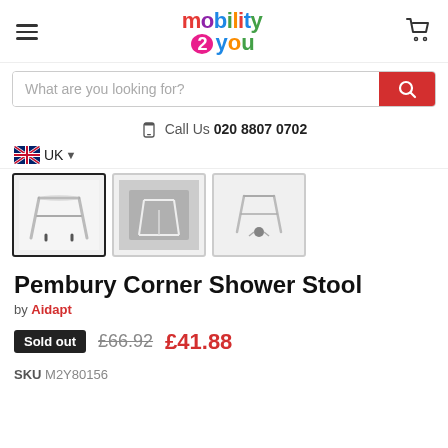mobility 2 you — navigation header with hamburger menu and cart icon
What are you looking for?
Call Us  020 8807 0702
UK
[Figure (photo): Three product thumbnails of the Pembury Corner Shower Stool from different angles]
Pembury Corner Shower Stool
by Aidapt
Sold out  £66.92  £41.88
SKU M2Y80156